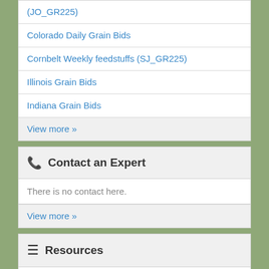(JO_GR225)
Colorado Daily Grain Bids
Cornbelt Weekly feedstuffs (SJ_GR225)
Illinois Grain Bids
Indiana Grain Bids
View more »
Contact an Expert
There is no contact here.
View more »
Resources
There is no contact here.